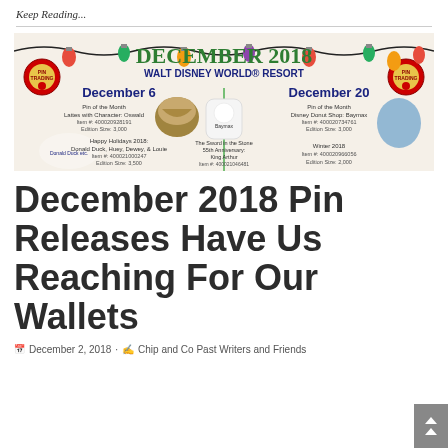Keep Reading...
[Figure (illustration): December 2018 Walt Disney World Resort Pin Trading releases flyer showing December 6 and December 20 pin releases including Lattes with Character: Oswald, Happy Holidays 2018: Donald Duck Huey Dewey & Louie, Pin of the Month Disney Donut Shop: Baymax, The Sword in the Stone 55th Anniversary: King Arthur, and Winter 2018 pins, with Christmas lights decoration and Mickey Mouse pin trading logos.]
December 2018 Pin Releases Have Us Reaching For Our Wallets
December 2, 2018 · Chip and Co Past Writers and Friends